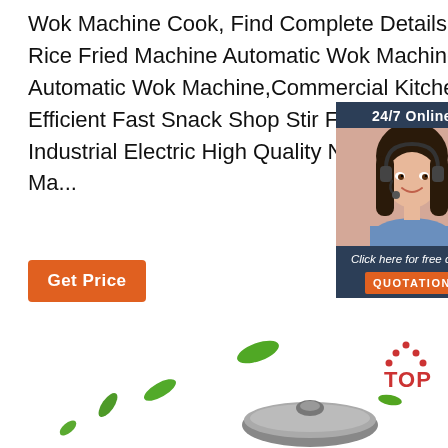Wok Machine Cook, Find Complete Details about Intelligent Electric Rice Fried Machine Automatic Wok Machine Cook,Electric Rice Fried Automatic Wok Machine,Commercial Kitchen Equipment Highly Efficient Fast Snack Shop Stir Fry Machine For Food Odm Chinese Industrial Electric High Quality Non Stick Automatic Food Cooking Ma...
[Figure (infographic): Chat widget with 24/7 Online label, customer service representative photo, Click here for free chat text, and QUOTATION button]
[Figure (other): Get Price orange button]
[Figure (photo): Bottom section showing green decorative leaves and a wok lid with TOP logo in bottom right corner]